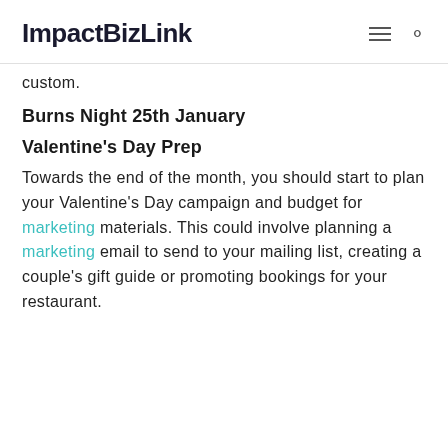ImpactBizLink
custom.
Burns Night 25th January
Valentine's Day Prep
Towards the end of the month, you should start to plan your Valentine's Day campaign and budget for marketing materials. This could involve planning a marketing email to send to your mailing list, creating a couple's gift guide or promoting bookings for your restaurant.